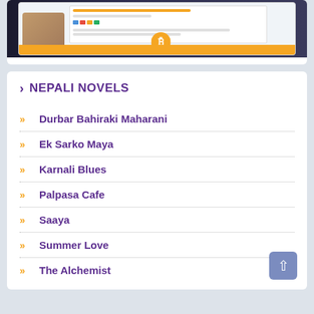[Figure (screenshot): Screenshot of a website with Bitcoin logo and orange bar, with hands holding a device]
NEPALI NOVELS
Durbar Bahiraki Maharani
Ek Sarko Maya
Karnali Blues
Palpasa Cafe
Saaya
Summer Love
The Alchemist